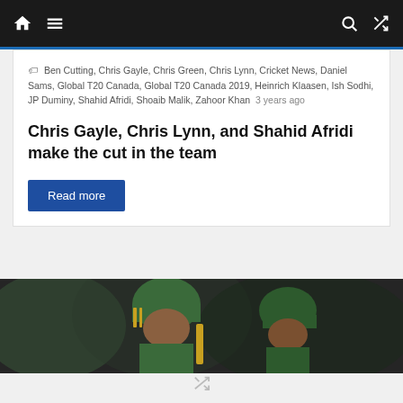Navigation bar with home, menu, search, and shuffle icons
Ben Cutting, Chris Gayle, Chris Green, Chris Lynn, Cricket News, Daniel Sams, Global T20 Canada, Global T20 Canada 2019, Heinrich Klaasen, Ish Sodhi, JP Duminy, Shahid Afridi, Shoaib Malik, Zahoor Khan   3 years ago
Chris Gayle, Chris Lynn, and Shahid Afridi make the cut in the team
Read more
[Figure (photo): Cricket players wearing green helmets and gear, one smiling, photographed in a stadium setting]